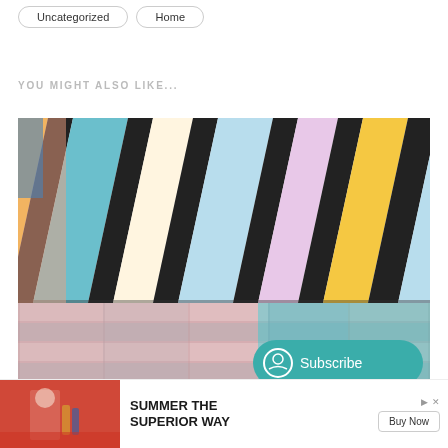Uncategorized
Home
YOU MIGHT ALSO LIKE...
[Figure (photo): Colorful painted wooden planks/boards arranged diagonally, showing multiple colors including yellow, teal, blue, pink, red, purple, white, and green. The boards form a herringbone/chevron pattern.]
Subscribe
[Figure (photo): Advertisement banner showing a person at a table with drinks. Text reads SUMMER THE SUPERIOR WAY with a Buy Now button.]